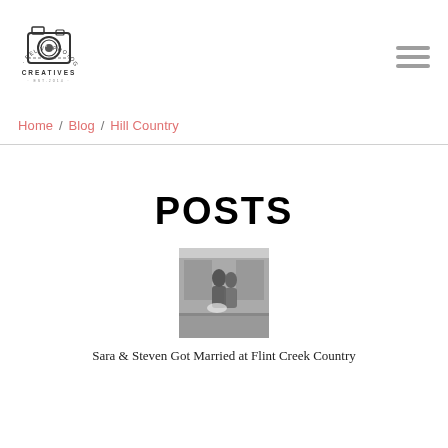[Figure (logo): Relive Photography Creatives logo with vintage camera illustration]
Home / Blog / Hill Country
POSTS
[Figure (photo): Black and white photo of a couple]
Sara & Steven Got Married at Flint Creek Country